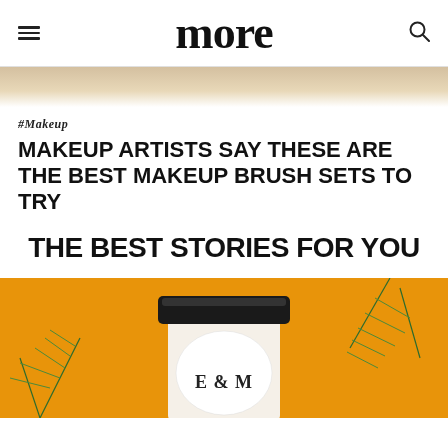more
[Figure (photo): Partial hero image banner at top, light beige/gold toned background]
#Makeup
MAKEUP ARTISTS SAY THESE ARE THE BEST MAKEUP BRUSH SETS TO TRY
THE BEST STORIES FOR YOU
[Figure (photo): Product jar with black lid on orange/yellow background with green plant leaves. Label reads 'E & M']